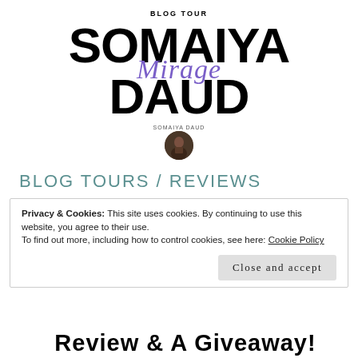BLOG TOUR
SOMAIYA Mirage DAUD
[Figure (photo): Small circular author photo of Somaiya Daud with name label above]
BLOG TOURS / REVIEWS
Privacy & Cookies: This site uses cookies. By continuing to use this website, you agree to their use.
To find out more, including how to control cookies, see here: Cookie Policy
Close and accept
Review & A Giveaway!